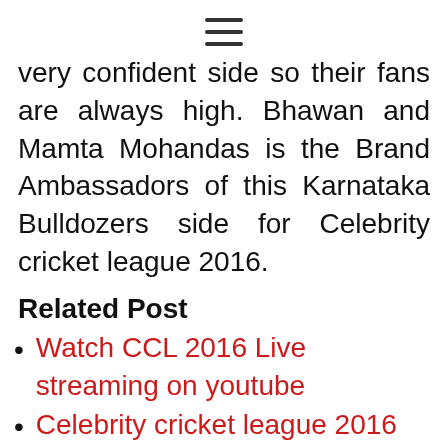☰
very confident side so their fans are always high. Bhawan and Mamta Mohandas is the Brand Ambassadors of this Karnataka Bulldozers side for Celebrity cricket league 2016.
Related Post
Watch CCL 2016 Live streaming on youtube
Celebrity cricket league 2016
CCL 6 Live score
Where to Watch CCL 6 Live